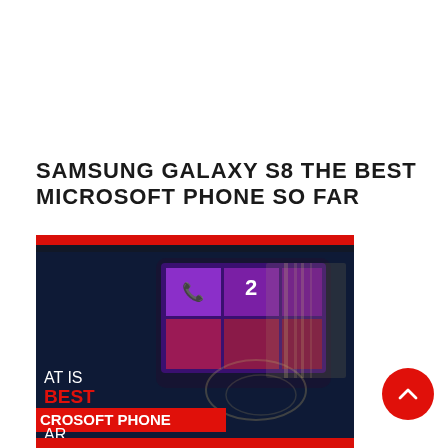SAMSUNG GALAXY S8 THE BEST MICROSOFT PHONE SO FAR
[Figure (photo): A promotional photo of a Microsoft/Windows Phone (Samsung Galaxy S8 concept) lying flat showing the tiled Windows Phone interface. The image has a dark navy background with a red bar at top and bottom. Overlaid text reads: 'AT IS', 'BEST' (in red), 'CROSOFT PHONE' (white on red background), 'AR'. A red circular scroll-to-top button appears in the bottom right area of the page.]